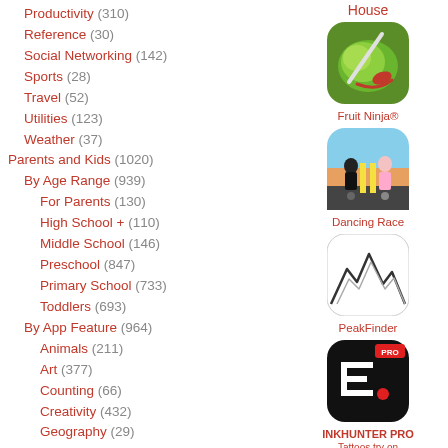Productivity (310)
Reference (30)
Social Networking (142)
Sports (28)
Travel (52)
Utilities (123)
Weather (37)
Parents and Kids (1020)
By Age Range (939)
For Parents (130)
High School + (110)
Middle School (146)
Preschool (847)
Primary School (733)
Toddlers (693)
By App Feature (964)
Animals (211)
Art (377)
Counting (66)
Creativity (432)
Geography (29)
Health (59)
Just For Fun (760)
Language (324)
House
[Figure (illustration): Fruit Ninja app icon - green fruit with sword slash and red streak on dark background]
Fruit Ninja®
[Figure (illustration): Dancing Race app icon - two characters rollerblading on a road with sky background]
Dancing Race
[Figure (illustration): PeakFinder app icon - mountain line drawing on white background]
PeakFinder
[Figure (illustration): INKHUNTER PRO app icon - dark background with stylized letter E and PRO badge in red]
INKHUNTER PRO Tattoos try on